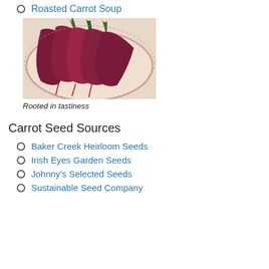Roasted Carrot Soup
[Figure (photo): A pile of deep red/purple carrots on a plate with decorative pink rim border, some green carrot tops visible]
Rooted in tastiness
Carrot Seed Sources
Baker Creek Heirloom Seeds
Irish Eyes Garden Seeds
Johnny's Selected Seeds
Sustainable Seed Company